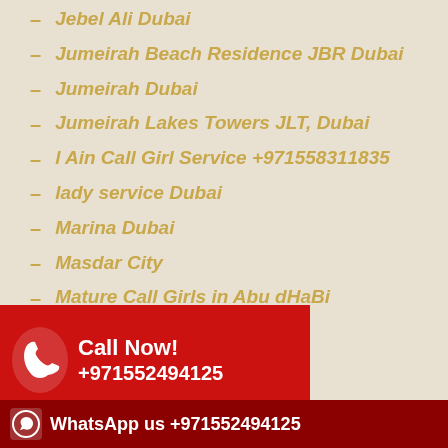Jebel Ali Dubai
Jumeirah Beach Residence JBR Dubai
Jumeirah Dubai
Jumeirah Lakes Towers JLT, Dubai
l Ain Call Girl Service +971558311835
lady service Dubai
Marina Dubai
Masdar City
Mature Call Girls in Abu dHaBi
...94
...rls in Fujairah
mature escorts ajman
[Figure (infographic): Red Call Now banner with phone icon showing +971552494125]
[Figure (infographic): Dark red WhatsApp us banner showing +971552494125]